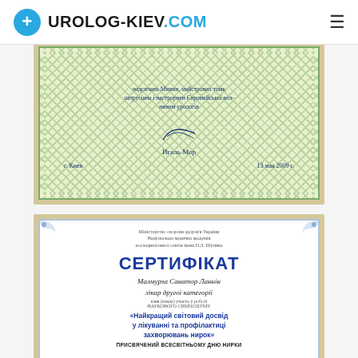UROLOG-KIEV.COM
[Figure (photo): Framed certificate in green/yellow with Ukrainian text, signature of Игаль Мор, dated г. Киев 13 мая 2009 г.]
[Figure (photo): Framed Ukrainian certificate (СЕРТИФІКАТ) from Міністерство охорони здоров'я України, Національна медична академія, for participating in scientific symposium 'Найкращий світовий досвід у лікуванні та профілактиці захворювань нирок' ПРИСВЯЧЕНИЙ ВСЕСВІТНЬОМУ ДНЮ НИРКИ]